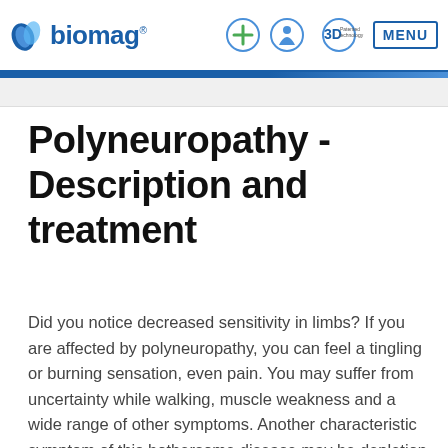biomag® — navigation header with logo and icons
Polyneuropathy - Description and treatment
Did you notice decreased sensitivity in limbs? If you are affected by polyneuropathy, you can feel a tingling or burning sensation, even pain. You may suffer from uncertainty while walking, muscle weakness and a wide range of other symptoms. Another characteristic symptom of this bothersome disease may be depletion of muscle mass on limbs.